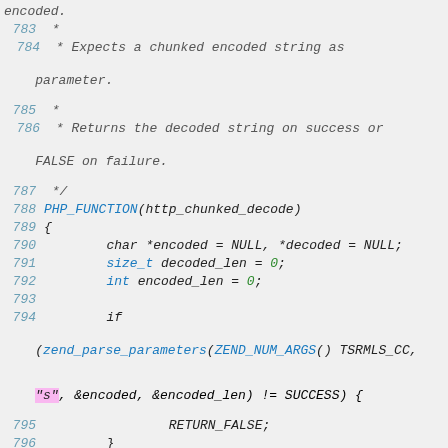[Figure (screenshot): Source code listing in C/PHP showing lines 783-799 of a PHP function http_chunked_decode, with syntax highlighting. The code shows a function that decodes chunked encoded strings, with blue line numbers, blue keywords, green numeric literals, and pink/magenta string literal.]